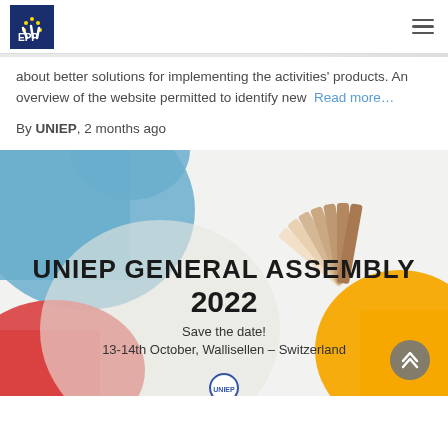EPP / UNIEP logo and navigation menu
about better solutions for implementing the activities' products. An overview of the website permitted to identify new Read more...
By UNIEP, 2 months ago
[Figure (illustration): UNIEP General Assembly 2022 promotional banner. Blue and red decorative shapes with a person holding colour swatches. Text reads: UNIEP GENERAL ASSEMBLY 2022, Save the date! 13-14th October, Wallisellen - Switzerland. UNIEP logo at bottom center. Yellow decorative element bottom right. Grey scroll-to-top button bottom right.]